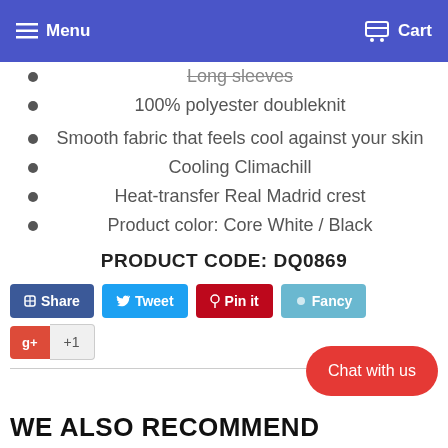Menu  Cart
Long sleeves (partial, cut off at top)
100% polyester doubleknit
Smooth fabric that feels cool against your skin
Cooling Climachill
Heat-transfer Real Madrid crest
Product color: Core White / Black
PRODUCT CODE: DQ0869
[Figure (other): Social sharing buttons: Share (Facebook), Tweet, Pin it (Pinterest), Fancy, and Google +1]
[Figure (other): Red pill-shaped chat button labeled 'Chat with us']
WE ALSO RECOMMEND